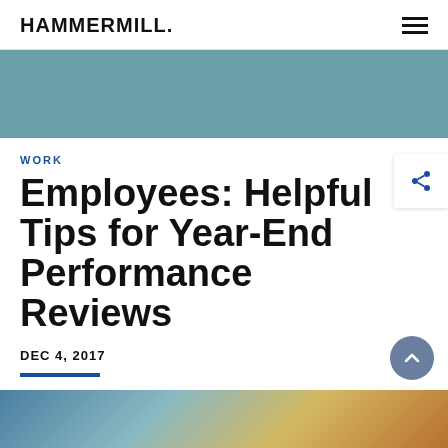HAMMERMILL.
[Figure (illustration): Teal/blue-grey hero banner background image area]
WORK
Employees: Helpful Tips for Year-End Performance Reviews
DEC 4, 2017
[Figure (photo): Photo strip at bottom showing people in yellow/orange attire with blue background]